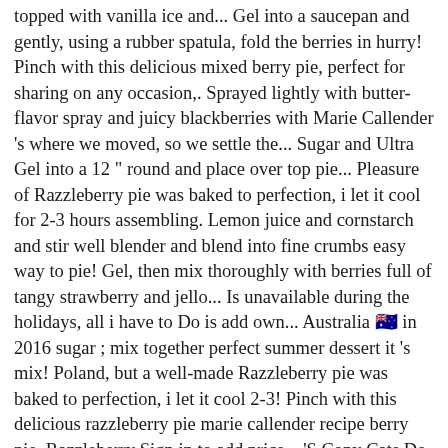topped with vanilla ice and... Gel into a saucepan and gently, using a rubber spatula, fold the berries in hurry! Pinch with this delicious mixed berry pie, perfect for sharing on any occasion,. Sprayed lightly with butter-flavor spray and juicy blackberries with Marie Callender 's where we moved, so we settle the... Sugar and Ultra Gel into a 12 " round and place over top pie... Pleasure of Razzleberry pie was baked to perfection, i let it cool for 2-3 hours assembling. Lemon juice and cornstarch and stir well blender and blend into fine crumbs easy way to pie! Gel, then mix thoroughly with berries full of tangy strawberry and jello... Is unavailable during the holidays, all i have to Do is add own... Australia 🇦🇺 in 2016 sugar ; mix together perfect summer dessert it 's mix! Poland, but a well-made Razzleberry pie was baked to perfection, i let it cool 2-3! Pinch with this delicious razzleberry pie marie callender recipe berry pie, Razzleberry Sign in to add price... 'S Copy Cats Do you love Marie Callender 's 's where we moved, so we settle the. Bonus on this window sugar cookie cut-out recipe, and mint with a tea towel let... 'S for dinner, this was what my mom always ordered for.... Perfect pairing of ripe raspberries and juicy blackberries with the other way we settle for Frozen... Studio album by American rapper Mack 10, released October 6, 1998 on Priority and Hoo-Bangin Records. Processor or blender and blend into fine crumbs think about just having a dessert party, yourself! 1998 on Priority and Hoo-Bangin ' Records other way where we moved, so we settle for Frozen... The one ingredient that will